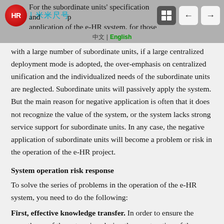For the subordinate units' specification and promotion of the application of the e-HR system, for those group companies
with a large number of subordinate units, if a large centralized deployment mode is adopted, the over-emphasis on centralized unification and the individualized needs of the subordinate units are neglected. Subordinate units will passively apply the system. But the main reason for negative application is often that it does not recognize the value of the system, or the system lacks strong service support for subordinate units. In any case, the negative application of subordinate units will become a problem or risk in the operation of the e-HR project.
System operation risk response
To solve the series of problems in the operation of the e-HR system, you need to do the following:
First, effective knowledge transfer. In order to ensure the smooth use of the enterprise, during the construction of the e-HR project, the use of enterprise knowledge transfer technology...